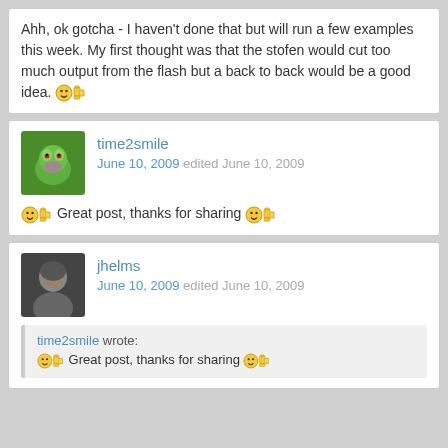Ahh, ok gotcha - I haven't done that but will run a few examples this week. My first thought was that the stofen would cut too much output from the flash but a back to back would be a good idea. 😊👍
time2smile
June 10, 2009 edited June 10, 2009
😊👍 Great post, thanks for sharing 😊👍
jhelms
June 10, 2009 edited June 10, 2009
time2smile wrote:
😊👍 Great post, thanks for sharing 😊👍